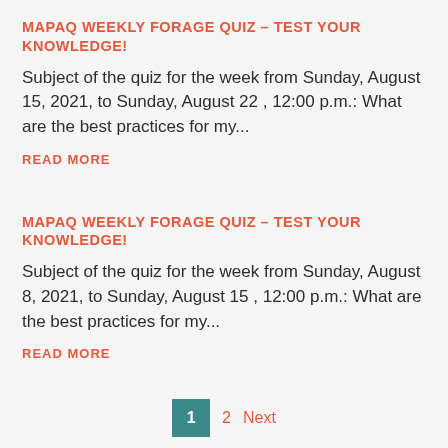MAPAQ WEEKLY FORAGE QUIZ – TEST YOUR KNOWLEDGE!
Subject of the quiz for the week from Sunday, August 15, 2021, to Sunday, August 22 , 12:00 p.m.: What are the best practices for my...
READ MORE
MAPAQ WEEKLY FORAGE QUIZ – TEST YOUR KNOWLEDGE!
Subject of the quiz for the week from Sunday, August 8, 2021, to Sunday, August 15 , 12:00 p.m.: What are the best practices for my...
READ MORE
1  2  Next